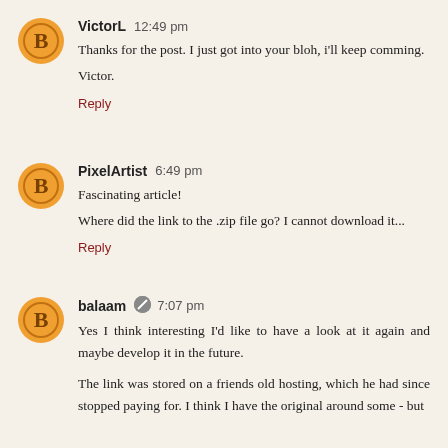VictorL  12:49 pm
Thanks for the post. I just got into your bloh, i'll keep comming.

Victor.
Reply
PixelArtist  6:49 pm
Fascinating article!

Where did the link to the .zip file go? I cannot download it...
Reply
balaam  7:07 pm
Yes I think interesting I'd like to have a look at it again and maybe develop it in the future.

The link was stored on a friends old hosting, which he had since stopped paying for. I think I have the original around some - but